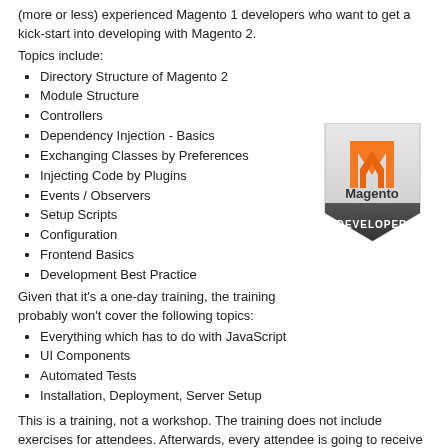(more or less) experienced Magento 1 developers who want to get a kick-start into developing with Magento 2.
Topics include:
Directory Structure of Magento 2
Module Structure
Controllers
Dependency Injection - Basics
Exchanging Classes by Preferences
Injecting Code by Plugins
Events / Observers
Setup Scripts
Configuration
Frontend Basics
Development Best Practice
[Figure (logo): Magento Certified Developer badge/logo]
Given that it's a one-day training, the training probably won't cover the following topics:
Everything which has to do with JavaScript
UI Components
Automated Tests
Installation, Deployment, Server Setup
This is a training, not a workshop. The training does not include exercises for attendees. Afterwards, every attendee is going to receive the code which will be developed during the training.